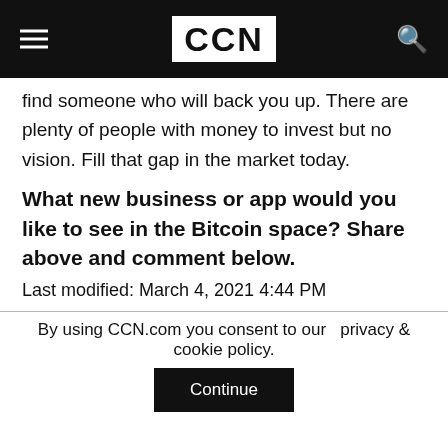CCN
find someone who will back you up. There are plenty of people with money to invest but no vision. Fill that gap in the market today.
What new business or app would you like to see in the Bitcoin space? Share above and comment below.
Last modified: March 4, 2021 4:44 PM
By using CCN.com you consent to our  privacy & cookie policy.
Continue